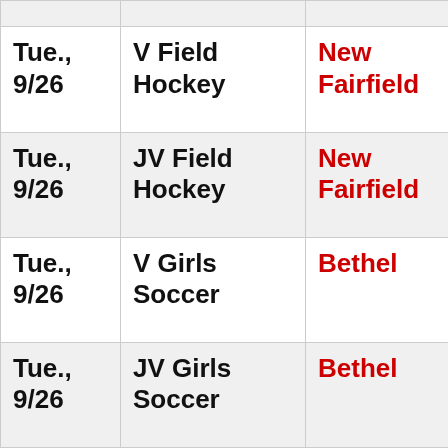| Date | Event | Opponent |
| --- | --- | --- |
|  |  |  |
| Tue., 9/26 | V Field Hockey | New Fairfield |
| Tue., 9/26 | JV Field Hockey | New Fairfield |
| Tue., 9/26 | V Girls Soccer | Bethel |
| Tue., 9/26 | JV Girls Soccer | Bethel |